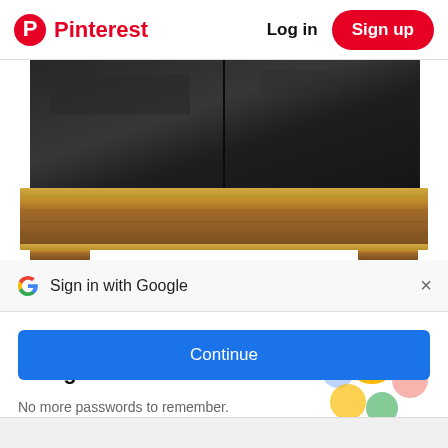Pinterest  Log in  Sign up
[Figure (photo): Close-up photo of the bottom portion of a black lacquered furniture piece (likely a credenza or sideboard) sitting on a wooden base with brass/gold trim edging, against a white background.]
Sign in with Google
Use your Google Account to sign in to Pinterest
No more passwords to remember. Signing in is fast, simple and secure.
[Figure (illustration): Google sign-in illustration showing a golden key with colorful circular Google-themed icons (blue, yellow/gold, green, red) arranged around it on a light background.]
Continue